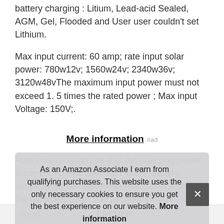battery charging : Litium, Lead-acid Sealed, AGM, Gel, Flooded and User user couldn't set Lithium.
Max input current: 60 amp; rate input solar power: 780w12v; 1560w24v; 2340w36v; 3120w48vThe maximum input power must not exceed 1. 5 times the rated power ; Max input Voltage: 150V;.
More information #ad
Auto control system to limit the charging power & current go over the rated value. Battery temperature compensation function to ensure the controller's life. The pv input voltage mus... Neg... indic...
As an Amazon Associate I earn from qualifying purchases. This website uses the only necessary cookies to ensure you get the best experience on our website. More information
| Brand |
| --- |
| FREUER |